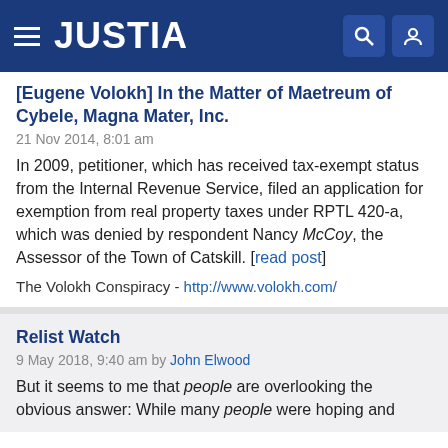JUSTIA
[Eugene Volokh] In the Matter of Maetreum of Cybele, Magna Mater, Inc.
21 Nov 2014, 8:01 am
In 2009, petitioner, which has received tax-exempt status from the Internal Revenue Service, filed an application for exemption from real property taxes under RPTL 420-a, which was denied by respondent Nancy McCoy, the Assessor of the Town of Catskill. [read post]
The Volokh Conspiracy - http://www.volokh.com/
Relist Watch
9 May 2018, 9:40 am by John Elwood
But it seems to me that people are overlooking the obvious answer: While many people were hoping and